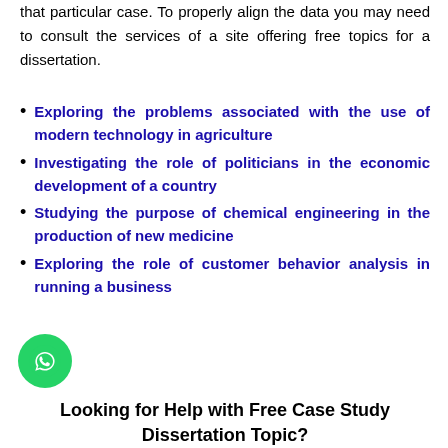that particular case. To properly align the data you may need to consult the services of a site offering free topics for a dissertation.
Exploring the problems associated with the use of modern technology in agriculture
Investigating the role of politicians in the economic development of a country
Studying the purpose of chemical engineering in the production of new medicine
Exploring the role of customer behavior analysis in running a business
Looking for Help with Free Case Study Dissertation Topic?